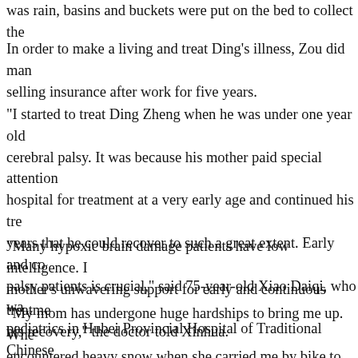was rain, basins and buckets were put on the bed to collect the
In order to make a living and treat Ding's illness, Zou did man selling insurance after work for five years.
"I started to treat Ding Zheng when he was under one year old cerebral palsy. It was because his mother paid special attention hospital for treatment at a very early age and continued his tre years that he could recover to such a great extent. Early and co palsy patients is crucial," said 75-year-old Xiao Daiqi, who wa pediatrics in Hubei Provincial Hospital of Traditional Chinese
"Many hypoxic brain damage patients have low intelligence. I mother's unwavering support for early and continuous treatme his recovery," the doctor told Xinhua.
"My mom has undergone huge hardships to bring me up. Whe encountered heavy snow when she carried me by bike to the h foolhardy the bike fell over into the mud. When...